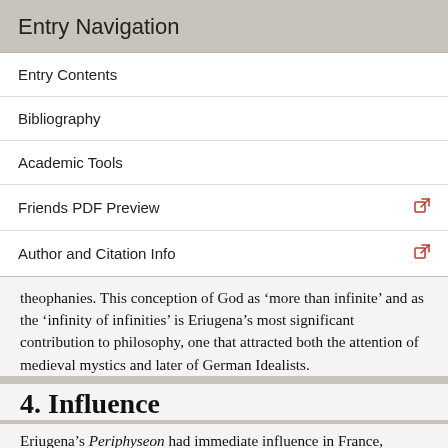Entry Navigation
Entry Contents
Bibliography
Academic Tools
Friends PDF Preview
Author and Citation Info
theophanies. This conception of God as ‘more than infinite’ and as the ‘infinity of infinities’ is Eriugena’s most significant contribution to philosophy, one that attracted both the attention of medieval mystics and later of German Idealists.
4. Influence
Eriugena’s Periphyseon had immediate influence in France, notably at the schools of Laon, Auxerre and Corbie. His translations of Pseudo-Dionysius were widely